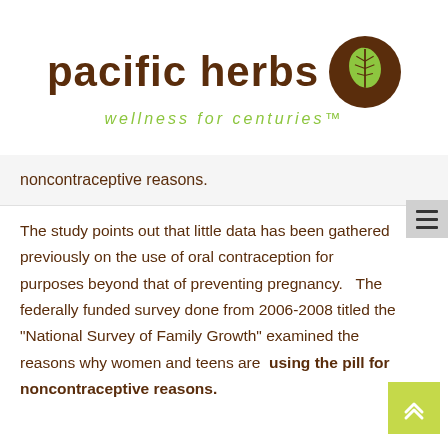[Figure (logo): Pacific Herbs logo with brown circle containing a white leaf, text 'pacific herbs' in brown and tagline 'wellness for centuries' in green]
noncontraceptive reasons.
The study points out that little data has been gathered previously on the use of oral contraception for purposes beyond that of preventing pregnancy. The federally funded survey done from 2006-2008 titled the "National Survey of Family Growth" examined the reasons why women and teens are using the pill for noncontraceptive reasons.